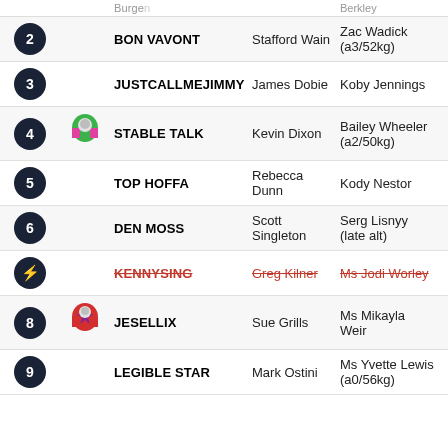| # | Silk | Horse | Trainer | Jockey | Tips |
| --- | --- | --- | --- | --- | --- |
| 2 |  | BON VAVONT | Stafford Wain | Zac Wadick (a3/52kg) | ✓✓✓ |
| 3 |  | JUSTCALLMEJIMMY | James Dobie | Koby Jennings |  |
| 4 | (silk) | STABLE TALK | Kevin Dixon | Bailey Wheeler (a2/50kg) | ✓ |
| 5 |  | TOP HOFFA | Rebecca Dunn | Kody Nestor | ✓✓ |
| 6 |  | DEN MOSS | Scott Singleton | Serg Lisnyy (late alt) | ✓✓ |
| 7 |  | KENNYSING (scratched) | Greg Kilner (scratched) | Ms Jodi Worley (scratched) | SC |
| 8 | (silk) | JESELLIX | Sue Grills | Ms Mikayla Weir | ✓ |
| 9 |  | LEGIBLE STAR | Mark Ostini | Ms Yvette Lewis (a0/56kg) | ✓ |